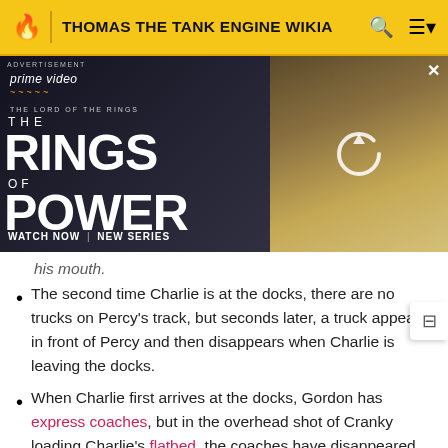THOMAS THE TANK ENGINE WIKIA
[Figure (photo): Advertisement banner for Amazon Prime Video 'The Lord of the Rings: The Rings of Power' series. Left side shows dark background with show title text and 'WATCH NOW | NEW SERIES'. Right side shows a blurred thumbnail of characters with a reload icon overlay.]
The second time Charlie is at the docks, there are no trucks on Percy's track, but seconds later, a truck appears in front of Percy and then disappears when Charlie is leaving the docks.
When Charlie first arrives at the docks, Gordon has express coaches, but in the overhead shot of Cranky loading Charlie's flatbed, the coaches have disappeared.